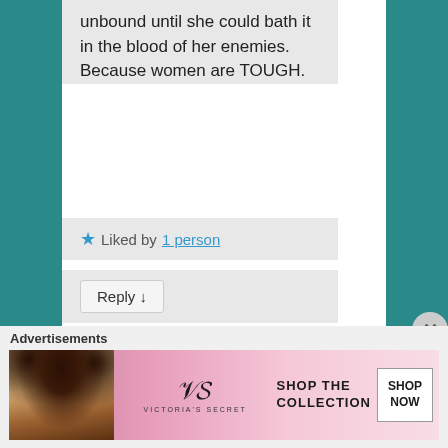unbound until she could bath it in the blood of her enemies. Because women are TOUGH.
★ Liked by 1 person
Reply ↓
Genevieve Woods on August 14, 2021 at 8:46 am said:
[Figure (photo): Dark dramatic landscape painting avatar image for Genevieve Woods]
Advertisements
[Figure (photo): Victoria's Secret advertisement banner showing a woman with curly hair and the text SHOP THE COLLECTION with a SHOP NOW button]